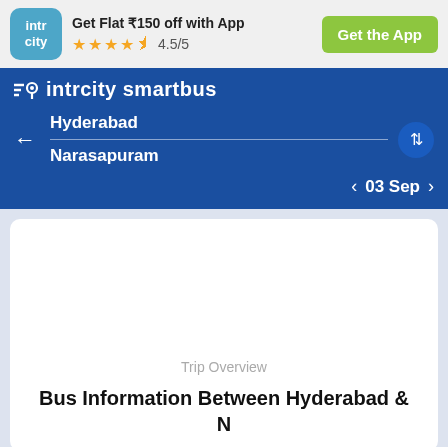[Figure (logo): IntrCity app logo - teal rounded square with 'intr city' text]
Get Flat ₹150 off with App
★★★★½ 4.5/5
Get the App
intrcity smartbus
← Hyderabad / Narasapuram
< 03 Sep >
Trip Overview
Bus Information Between Hyderabad & N...